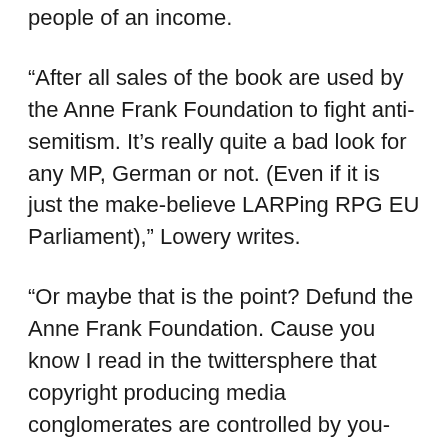people of an income.
“After all sales of the book are used by the Anne Frank Foundation to fight anti-semitism. It’s really quite a bad look for any MP, German or not. (Even if it is just the make-believe LARPing RPG EU Parliament),” Lowery writes.
“Or maybe that is the point? Defund the Anne Frank Foundation. Cause you know I read in the twittersphere that copyright producing media conglomerates are controlled by you-know-who.”
At this point, Lowery moves on to Fight For the Future, stating that their lack of racial diversity caused them to stumble into a racially charged